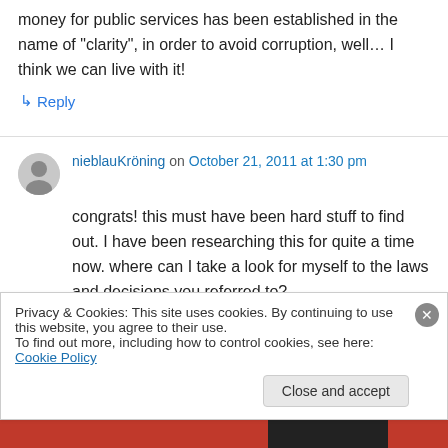money for public services has been established in the name of “clarity”, in order to avoid corruption, well… I think we can live with it!
↳ Reply
nieblauKröning on October 21, 2011 at 1:30 pm
congrats! this must have been hard stuff to find out. I have been researching this for quite a time now. where can I take a look for myself to the laws and decisions you referred to?
Privacy & Cookies: This site uses cookies. By continuing to use this website, you agree to their use.
To find out more, including how to control cookies, see here: Cookie Policy